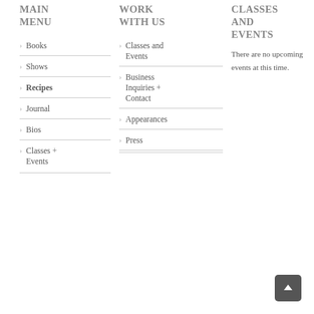MAIN MENU
Books
Shows
Recipes
Journal
Bios
Classes + Events
WORK WITH US
Classes and Events
Business Inquiries + Contact
Appearances
Press
CLASSES AND EVENTS
There are no upcoming events at this time.